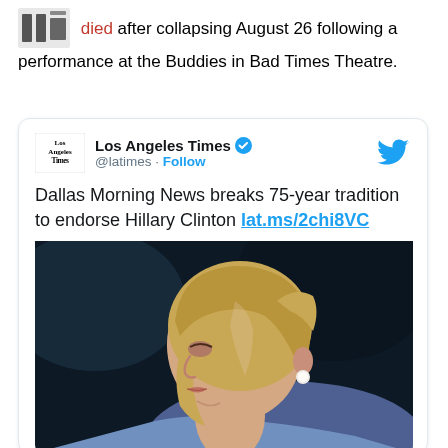died after collapsing August 26 following a performance at the Buddies in Bad Times Theatre.
[Figure (screenshot): Embedded tweet from Los Angeles Times (@latimes) with verified badge and Follow button. Tweet text: 'Dallas Morning News breaks 75-year tradition to endorse Hillary Clinton lat.ms/2chi8VC'. Below the tweet text is a photo of Hillary Clinton in profile view, looking upward, dark background, wearing a light blue jacket and pearl earring.]